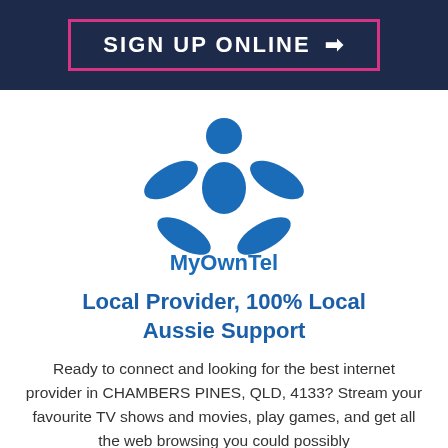[Figure (other): Dark navy header bar with a pink-bordered button reading SIGN UP ONLINE with a right arrow]
[Figure (logo): MyOwnTel logo featuring a blue stylized person figure with arms and legs spread, with the text MyOwnTel in blue below]
Local Provider, 100% Local Aussie Support
Ready to connect and looking for the best internet provider in CHAMBERS PINES, QLD, 4133? Stream your favourite TV shows and movies, play games, and get all the web browsing you could possibly want with MyOwnTel Fibre broadband and